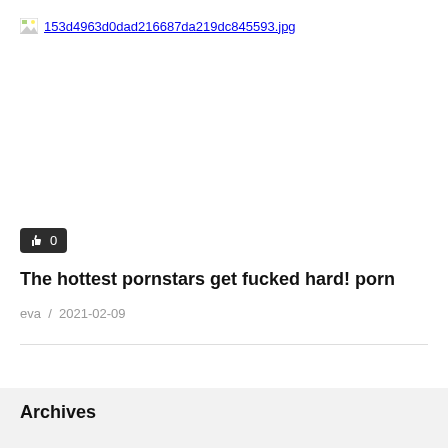[Figure (other): Broken image placeholder with filename link: 153d4963d0dad216687da219dc845593.jpg]
👍 0
The hottest pornstars get fucked hard! porn
eva / 2021-02-09
Archives